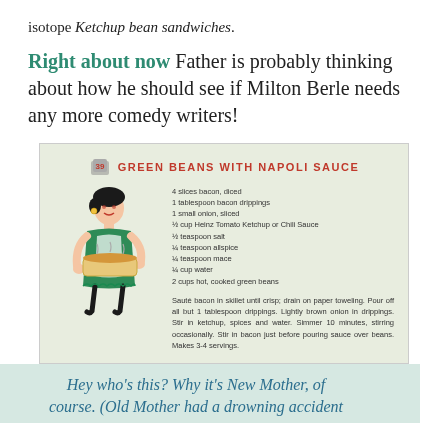isotope Ketchup bean sandwiches.
Right about now Father is probably thinking about how he should see if Milton Berle needs any more comedy writers!
[Figure (illustration): Vintage recipe card with light green background showing 'Green Beans with Napoli Sauce' recipe. Features a cartoon illustration of a 1950s housewife holding a casserole dish. Includes a list of ingredients and cooking instructions.]
Hey who's this? Why it's New Mother, of course. (Old Mother had a drowning accident